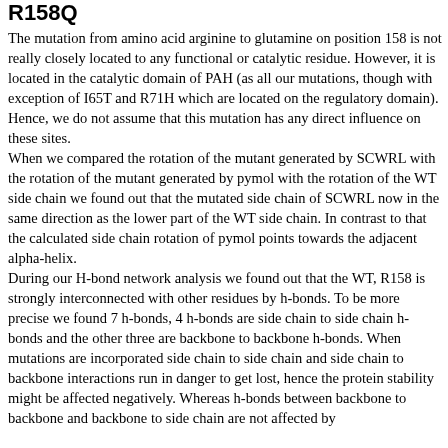R158Q
The mutation from amino acid arginine to glutamine on position 158 is not really closely located to any functional or catalytic residue. However, it is located in the catalytic domain of PAH (as all our mutations, though with exception of I65T and R71H which are located on the regulatory domain). Hence, we do not assume that this mutation has any direct influence on these sites.
When we compared the rotation of the mutant generated by SCWRL with the rotation of the mutant generated by pymol with the rotation of the WT side chain we found out that the mutated side chain of SCWRL now in the same direction as the lower part of the WT side chain. In contrast to that the calculated side chain rotation of pymol points towards the adjacent alpha-helix.
During our H-bond network analysis we found out that the WT, R158 is strongly interconnected with other residues by h-bonds. To be more precise we found 7 h-bonds, 4 h-bonds are side chain to side chain h-bonds and the other three are backbone to backbone h-bonds. When mutations are incorporated side chain to side chain and side chain to backbone interactions run in danger to get lost, hence the protein stability might be affected negatively. Whereas h-bonds between backbone to backbone and backbone to side chain are not affected by